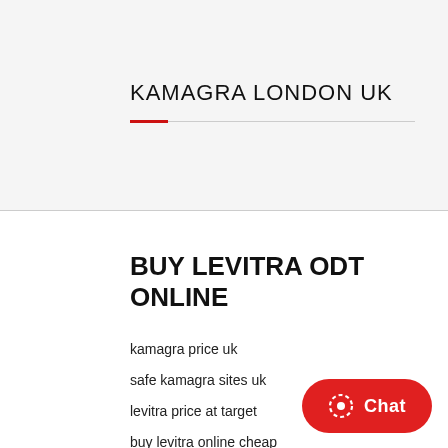KAMAGRA LONDON UK
BUY LEVITRA ODT ONLINE
kamagra price uk
safe kamagra sites uk
levitra price at target
buy levitra online cheap
kamagra gold 50 mg
kamagra gold 50